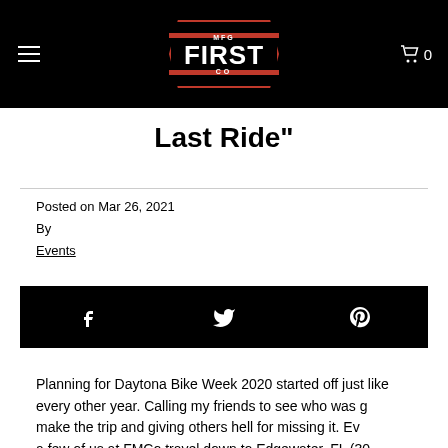FIRST MFG CO
Last Ride"
Posted on Mar 26, 2021
By
Events
[Figure (other): Social sharing bar with Facebook, Twitter, and Pinterest icons on black background]
Planning for Daytona Bike Week 2020 started off just like every other year. Calling my friends to see who was going to make the trip and giving others hell for missing it. Every year a few of us at FMCo travel down to Edgewater, FL (30 miles south of Daytona) and post up for the week at The Mad Pen Saloon. Over the past 9 Bike Weeks we have...